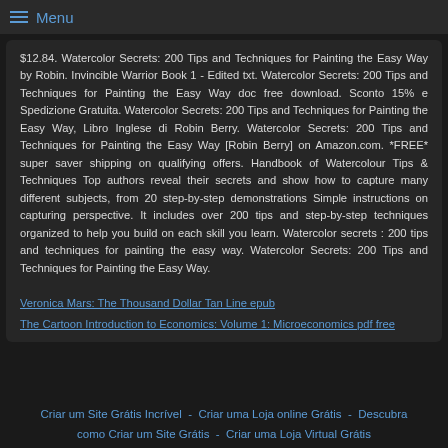Menu
$12.84. Watercolor Secrets: 200 Tips and Techniques for Painting the Easy Way by Robin. Invincible Warrior Book 1 - Edited txt. Watercolor Secrets: 200 Tips and Techniques for Painting the Easy Way doc free download. Sconto 15% e Spedizione Gratuita. Watercolor Secrets: 200 Tips and Techniques for Painting the Easy Way, Libro Inglese di Robin Berry. Watercolor Secrets: 200 Tips and Techniques for Painting the Easy Way [Robin Berry] on Amazon.com. *FREE* super saver shipping on qualifying offers. Handbook of Watercolour Tips & Techniques Top authors reveal their secrets and show how to capture many different subjects, from 20 step-by-step demonstrations Simple instructions on capturing perspective. It includes over 200 tips and step-by-step techniques organized to help you build on each skill you learn. Watercolor secrets : 200 tips and techniques for painting the easy way. Watercolor Secrets: 200 Tips and Techniques for Painting the Easy Way.
Veronica Mars: The Thousand Dollar Tan Line epub
The Cartoon Introduction to Economics: Volume 1: Microeconomics pdf free
Criar um Site Grátis Incrível  -  Criar uma Loja online Grátis  -  Descubra como Criar um Site Grátis  -  Criar uma Loja Virtual Grátis